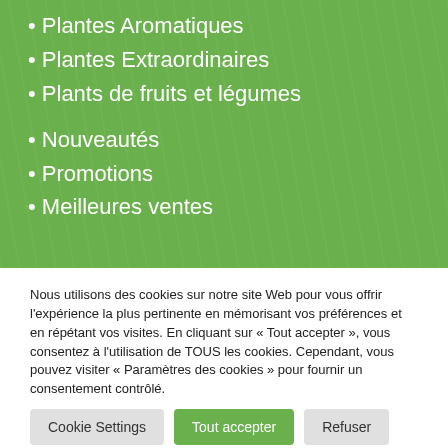• Plantes Aromatiques
• Plantes Extraordinaires
• Plants de fruits et légumes
• Nouveautés
• Promotions
• Meilleures ventes
Nous utilisons des cookies sur notre site Web pour vous offrir l'expérience la plus pertinente en mémorisant vos préférences et en répétant vos visites. En cliquant sur « Tout accepter », vous consentez à l'utilisation de TOUS les cookies. Cependant, vous pouvez visiter « Paramètres des cookies » pour fournir un consentement contrôlé.
Cookie Settings | Tout accepter | Refuser